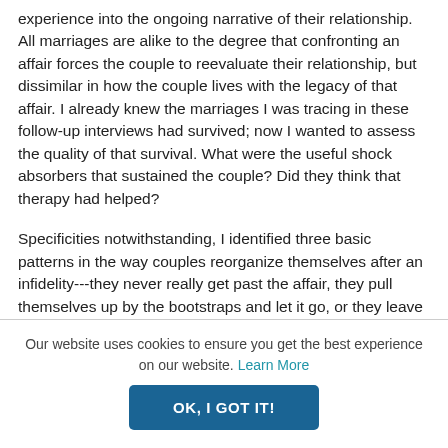experience into the ongoing narrative of their relationship. All marriages are alike to the degree that confronting an affair forces the couple to reevaluate their relationship, but dissimilar in how the couple lives with the legacy of that affair. I already knew the marriages I was tracing in these follow-up interviews had survived; now I wanted to assess the quality of that survival. What were the useful shock absorbers that sustained the couple? Did they think that therapy had helped?
Specificities notwithstanding, I identified three basic patterns in the way couples reorganize themselves after an infidelity---they never really get past the affair, they pull themselves up by the bootstraps and let it go, or they leave it far behind.
Our website uses cookies to ensure you get the best experience on our website. Learn More
OK, I GOT IT!